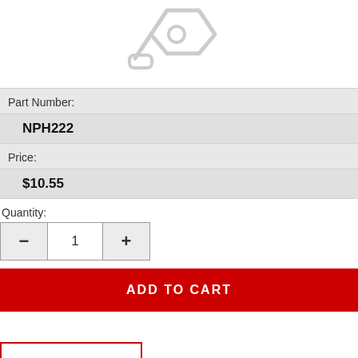[Figure (illustration): Product placeholder icon: a paint roller or tag icon in light gray outline style, centered at top of page]
Part Number:
NPH222
Price:
$10.55
Quantity:
1
ADD TO CART